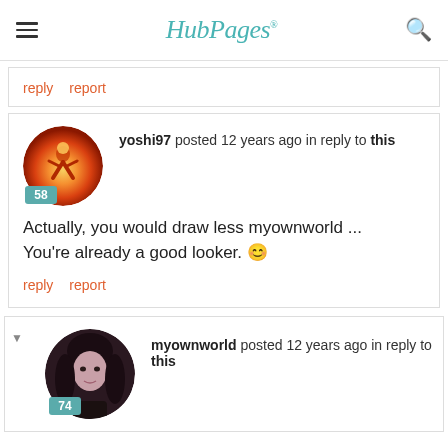HubPages
reply   report
yoshi97 posted 12 years ago in reply to this
Actually, you would draw less myownworld ... You're already a good looker. 🙂
reply   report
myownworld posted 12 years ago in reply to this